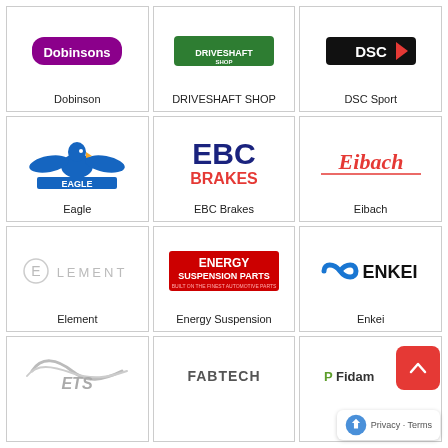[Figure (logo): Dobinson logo - partially visible at top]
Dobinson
[Figure (logo): DRIVESHAFT SHOP logo - partially visible at top]
DRIVESHAFT SHOP
[Figure (logo): DSC Sport logo - partially visible at top]
DSC Sport
[Figure (logo): Eagle logo - blue eagle with spread wings]
Eagle
[Figure (logo): EBC Brakes logo - blue EBC text with red BRAKES]
EBC Brakes
[Figure (logo): Eibach logo - red italic text]
Eibach
[Figure (logo): Element logo - circle E with ELEMENT text in light gray]
Element
[Figure (logo): Energy Suspension Parts logo - red background with white text]
Energy Suspension
[Figure (logo): Enkei logo - blue infinity-like symbol with ENKEI text]
Enkei
[Figure (logo): ETS logo - stylized bird/wings with ETS text, partial bottom row]
[Figure (logo): Fabtech logo - metallic styled text, partial bottom row]
[Figure (logo): Fidam/Fidanza logo - green and black logo, partial bottom row]